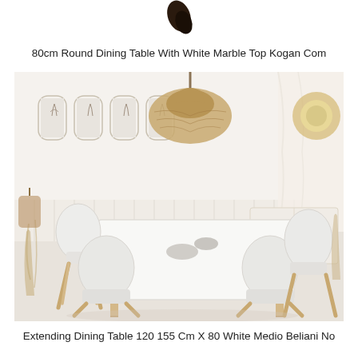[Figure (other): Small dark avocado or leaf icon at top center of page]
80cm Round Dining Table With White Marble Top Kogan Com
[Figure (photo): Scandinavian style dining room with white rectangular dining table surrounded by white mid-century modern chairs with wooden legs. Room decorated with rattan pendant lamp, woven mirror, botanical wall art prints, lantern, dried grass plants, and a white sideboard cabinet. Bright, airy, neutral color palette.]
Extending Dining Table 120 155 Cm X 80 White Medio Beliani No